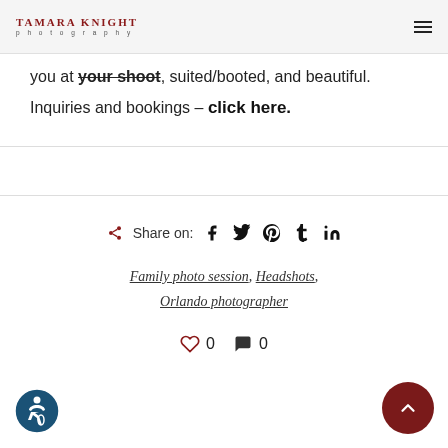TAMARA KNIGHT photography
you at your shoot, suited/booted, and beautiful.
Inquiries and bookings – click here.
Share on: [Facebook] [Twitter] [Pinterest] [Tumblr] [LinkedIn]
Family photo session, Headshots, Orlando photographer
0  0